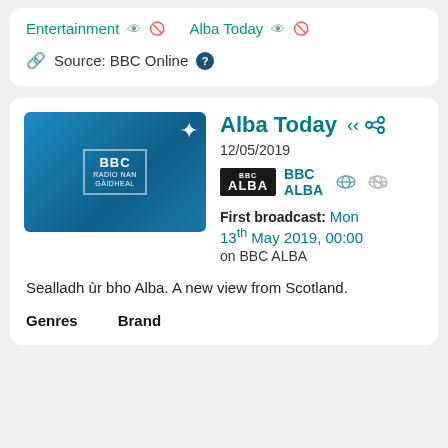Entertainment  Alba Today
Source: BBC Online
Alba Today
12/05/2019
BBC ALBA
First broadcast: Mon 13th May 2019, 00:00 on BBC ALBA
Sealladh ùr bho Alba. A new view from Scotland.
Genres   Brand